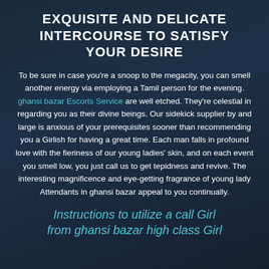EXQUISITE AND DELICATE INTERCOURSE TO SATISFY YOUR DESIRE
To be sure in case you're a snoop to the megacity, you can smell another energy via employing a Tamil person for the evening. ghansi bazar Escorts Service are well etched. They're celestial in regarding you as their divine beings. Our sidekick supplier by and large is anxious of your prerequisites sooner than recommending you a Girlish for having a great time. Each man falls in profound love with the fieriness of our young ladies' skin, and on each event you smell low, you just call us to get tepidness and revive. The interesting magnificence and eye-getting fragrance of young lady Attendants in ghansi bazar appeal to you continually.
Instructions to utilize a call Girl from ghansi bazar high class Girl